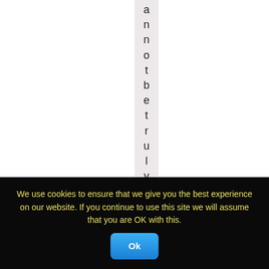[Figure (other): Vertical strip with light pink/mauve background containing vertically stacked letters spelling 'annotbetrulyaddictedto', one character per line, in dark gray sans-serif font]
We use cookies to ensure that we give you the best experience on our website. If you continue to use this site we will assume that you are OK with this.